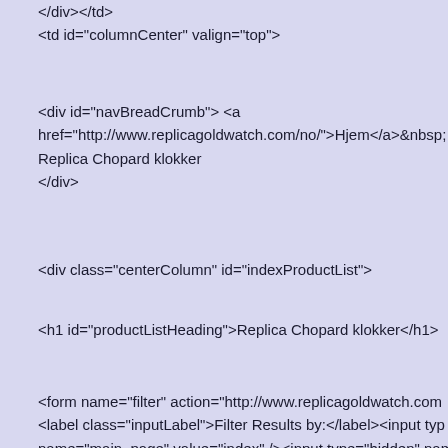</div></td>
<td id="columnCenter" valign="top">
<div id="navBreadCrumb"> <a href="http://www.replicagoldwatch.com/no/">Hjem</a>&nbsp; Replica Chopard klokker </div>
<div class="centerColumn" id="indexProductList">
<h1 id="productListHeading">Replica Chopard klokker</h1>
<form name="filter" action="http://www.replicagoldwatch.com <label class="inputLabel">Filter Results by:</label><input typ name="main_page" value="index" /><input type="hidden" nam value="17" /><input type="hidden" name="sort" value="20a" / name="alpha_filter_id" onchange="this.form.submit()">